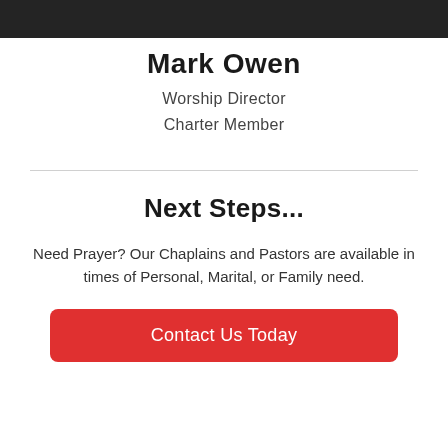[Figure (photo): Top portion of a photo showing people, cropped at top of page]
Mark Owen
Worship Director
Charter Member
Next Steps...
Need Prayer? Our Chaplains and Pastors are available in times of Personal, Marital, or Family need.
Contact Us Today